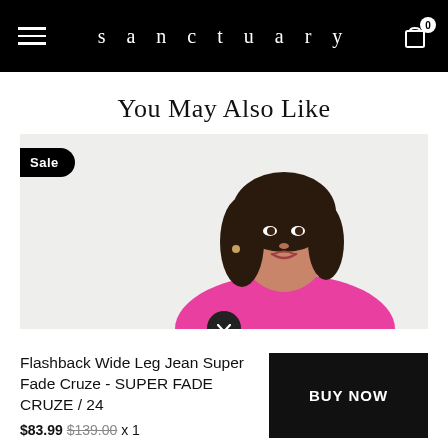sanctuary
You May Also Like
[Figure (photo): A model with dark wavy hair wearing a pink top, photographed in a light grey background. A 'Sale' badge overlay is shown in the top-left corner.]
Flashback Wide Leg Jean Super Fade Cruze - SUPER FADE CRUZE / 24
$83.99 $139.00 x 1